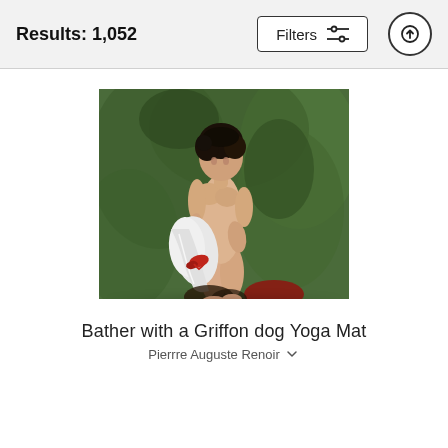Results: 1,052
Filters
[Figure (illustration): A classical oil painting depicting a standing nude woman with dark curly hair, holding a white draped cloth with a red bow, set against a green leafy background. Dogs are partially visible at the bottom. This is Renoir's 'Bather with a Griffon Dog'.]
Bather with a Griffon dog Yoga Mat
Pierrre Auguste Renoir